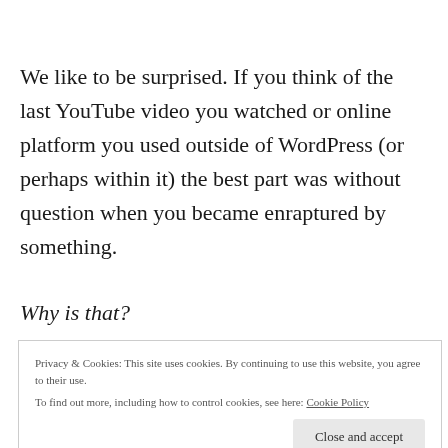We like to be surprised. If you think of the last YouTube video you watched or online platform you used outside of WordPress (or perhaps within it) the best part was without question when you became enraptured by something.
Why is that?
Privacy & Cookies: This site uses cookies. By continuing to use this website, you agree to their use.
To find out more, including how to control cookies, see here: Cookie Policy
Close and accept